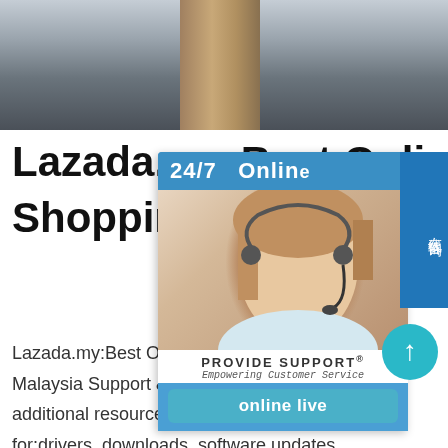[Figure (photo): Top photo of wooden rafters or metal structural element, gray/brown tones]
Lazada.my:Best Online Shopping in Malaysia
[Figure (photo): Customer service widget overlay with 24/7 Online support, headset woman photo, Provide Support branding, and online live button]
Lazada.my:Best Online Shopping in Mala... Malaysia Support & DriversDirectory of H... additional resource information. Get assi... for:drivers, downloads, software updates... authorized support providers, replaceme... registration, HP training and education, service centers, forums and community, warranty, and contact informationsp.info plate manufacturerAluminum Pl... Manufacturers Aluminum Plate Suppliers. Aluminum plates are important utilities in a variety of contexts.In